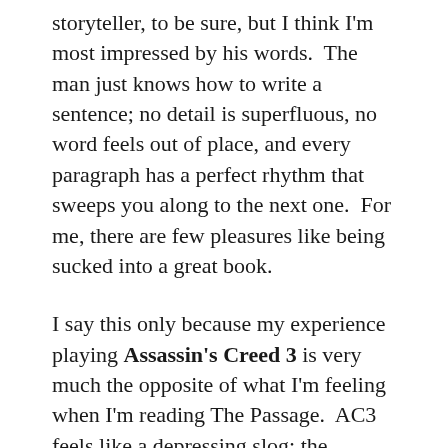storyteller, to be sure, but I think I'm most impressed by his words.  The man just knows how to write a sentence; no detail is superfluous, no word feels out of place, and every paragraph has a perfect rhythm that sweeps you along to the next one.  For me, there are few pleasures like being sucked into a great book.
I say this only because my experience playing Assassin's Creed 3 is very much the opposite of what I'm feeling when I'm reading The Passage.  AC3 feels like a depressing slog; the already-tenuous narrative is now fraying and starting to make very little sense, both in Connor-time and (especially) in Desmond-